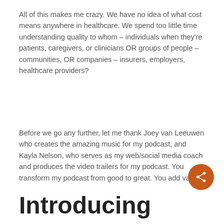All of this makes me crazy. We have no idea of what cost means anywhere in healthcare. We spend too little time understanding quality to whom – individuals when they're patients, caregivers, or clinicians OR groups of people – communities, OR companies – insurers, employers, healthcare providers?
Before we go any further, let me thank Joey van Leeuwen who creates the amazing music for my podcast, and Kayla Nelson, who serves as my web/social media coach and produces the video trailers for my podcast. You transform my podcast from good to great. You add value.
Introducing